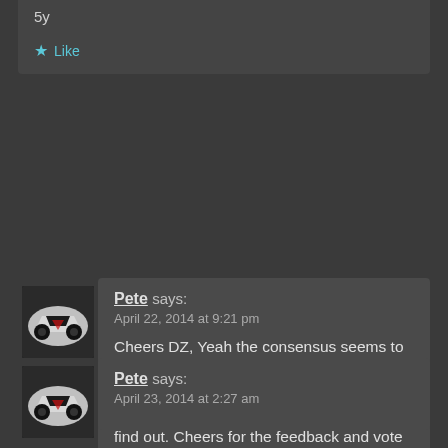5y
★ Like
Pete says:
April 22, 2014 at 9:21 pm
Cheers DZ, Yeah the consensus seems to be that the pinky/purple isn't to everyones taste.
Still if you dont try these things you dont find out. Cheers for the feedback and vote sir! 😀
★ Like
Pete says:
April 23, 2014 at 2:27 am